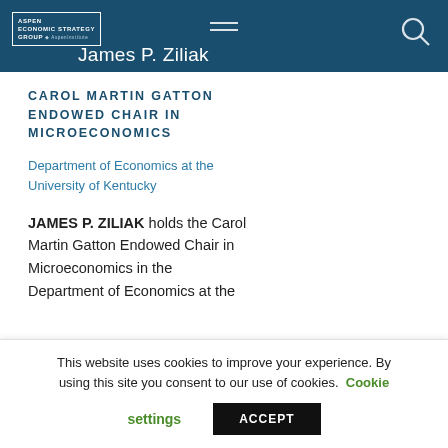ASPEN ECONOMIC STRATEGY GROUP · Aspen Institute
James P. Ziliak
CAROL MARTIN GATTON ENDOWED CHAIR IN MICROECONOMICS
Department of Economics at the University of Kentucky
JAMES P. ZILIAK holds the Carol Martin Gatton Endowed Chair in Microeconomics in the Department of Economics at the
This website uses cookies to improve your experience. By using this site you consent to our use of cookies. Cookie settings ACCEPT